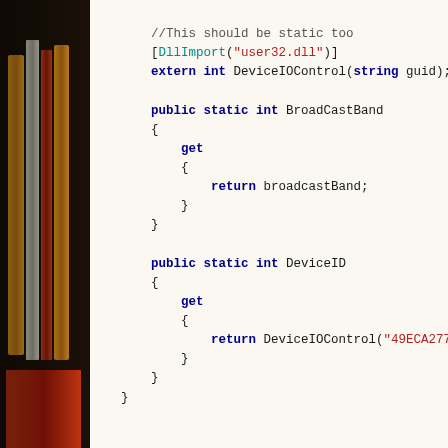[Figure (photo): Books on a shelf forming a sidebar on the left side of the image]
//This should be static too
[DllImport("user32.dll")]
extern int DeviceIOControl(string guid);

public static int BroadCastBand
{
    get
    {
        return broadcastBand;
    }
}

public static int DeviceID
{
    get
    {
        return DeviceIOControl("49ECA277-65F7-446b-9206-4C0958...");
    }
}